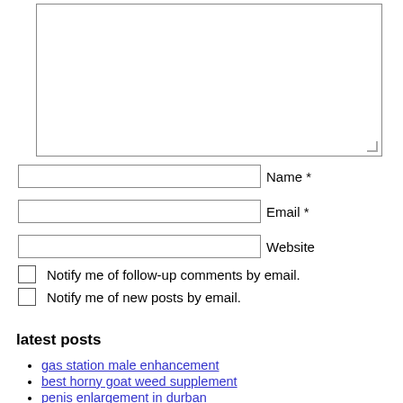[Figure (other): Textarea input box with resize handle]
Name *
Email *
Website
Notify me of follow-up comments by email.
Notify me of new posts by email.
Post Comment
latest posts
gas station male enhancement
best horny goat weed supplement
penis enlargement in durban
free coupon for viagra